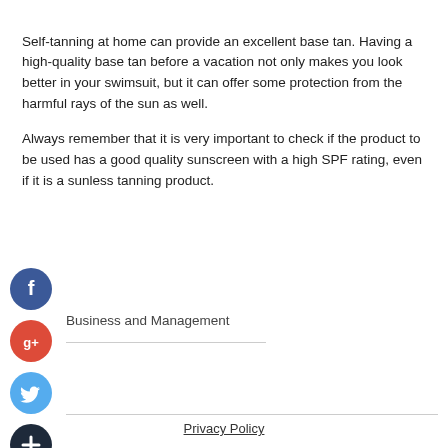Self-tanning at home can provide an excellent base tan. Having a high-quality base tan before a vacation not only makes you look better in your swimsuit, but it can offer some protection from the harmful rays of the sun as well.
Always remember that it is very important to check if the product to be used has a good quality sunscreen with a high SPF rating, even if it is a sunless tanning product.
[Figure (illustration): Facebook social share button - dark blue circle with white 'f' letter]
Business and Management
[Figure (illustration): Google+ social share button - red circle with white 'g+' text]
[Figure (illustration): Twitter social share button - light blue circle with white bird icon]
[Figure (illustration): Add/plus social share button - dark navy circle with white plus sign]
Privacy Policy